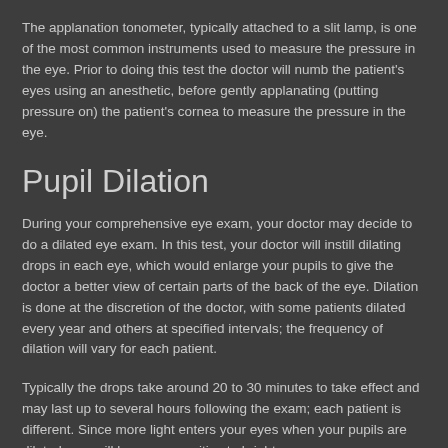The applanation tonometer, typically attached to a slit lamp, is one of the most common instruments used to measure the pressure in the eye. Prior to doing this test the doctor will numb the patient's eyes using an anesthetic, before gently applanating (putting pressure on) the patient's cornea to measure the pressure in the eye.
Pupil Dilation
During your comprehensive eye exam, your doctor may decide to do a dilated eye exam. In this test, your doctor will instill dilating drops in each eye, which would enlarge your pupils to give the doctor a better view of certain parts of the back of the eye. Dilation is done at the discretion of the doctor, with some patients dilated every year and others at specified intervals; the frequency of dilation will vary for each patient.
Typically the drops take around 20 to 30 minutes to take effect and may last up to several hours following the exam; each patient is different. Since more light enters your eyes when your pupils are dilated, you will be more sensitive to bright